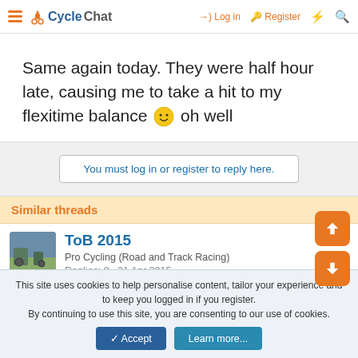CycleChat — Log in  Register
Same again today. They were half hour late, causing me to take a hit to my flexitime balance 🙂 oh well
You must log in or register to reply here.
Similar threads
[Figure (photo): Thumbnail photo of a cycling scene]
ToB 2015
Pro Cycling (Road and Track Racing)
Replies: 8 · 21 Apr 2015
This site uses cookies to help personalise content, tailor your experience and to keep you logged in if you register. By continuing to use this site, you are consenting to our use of cookies.